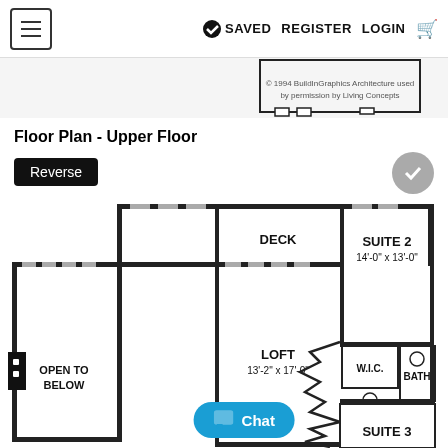SAVED  REGISTER  LOGIN
Floor Plan - Upper Floor
Reverse
[Figure (engineering-diagram): Upper floor architectural floor plan showing DECK, SUITE 2 (14'-0" x 13'-0"), LOFT (13'-2" x 17'-0"), W.I.C., BATH, OPEN TO BELOW, and partial SUITE 3 at bottom right. Includes staircase, closets, and bathroom fixtures.]
Chat